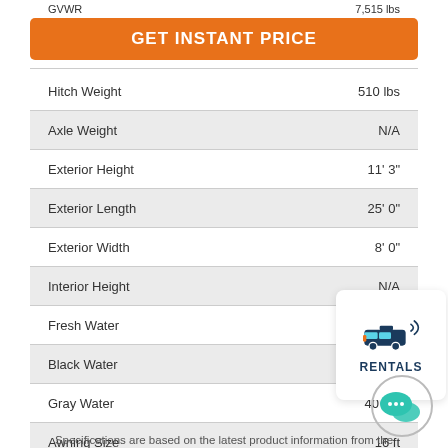GVWR    7,515 lbs
GET INSTANT PRICE
| Specification | Value |
| --- | --- |
| Hitch Weight | 510 lbs |
| Axle Weight | N/A |
| Exterior Height | 11' 3" |
| Exterior Length | 25' 0" |
| Exterior Width | 8' 0" |
| Interior Height | N/A |
| Fresh Water | 40 gal |
| Black Water | 30 gal |
| Gray Water | 40 gal |
| Awning Size | 16 ft |
| Garage Length | N/A |
Specifications are based on the latest product information from the